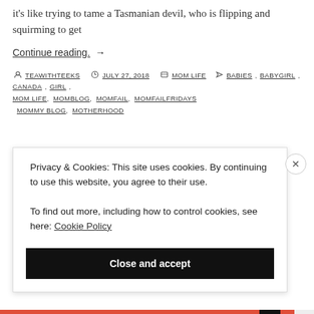it's like trying to tame a Tasmanian devil, who is flipping and squirming to get
Continue reading. →
👤 TEAWITHTEEKS  🕐 JULY 27, 2018  🗂 MOM LIFE  🏷 BABIES, BABYGIRL, CANADA, GIRL, MOM LIFE, MOMBLOG, MOMFAIL, MOMFAILFRIDAYS MOMMY BLOG, MOTHERHOOD
Privacy & Cookies: This site uses cookies. By continuing to use this website, you agree to their use. To find out more, including how to control cookies, see here: Cookie Policy
Close and accept